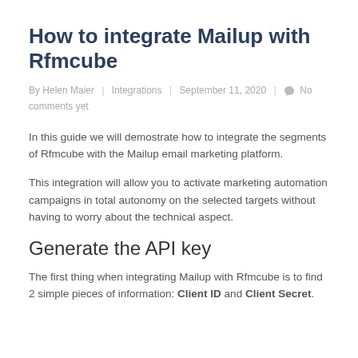How to integrate Mailup with Rfmcube
By Helen Maier | Integrations | September 11, 2020 | No comments yet
In this guide we will demostrate how to integrate the segments of Rfmcube with the Mailup email marketing platform.
This integration will allow you to activate marketing automation campaigns in total autonomy on the selected targets without having to worry about the technical aspect.
Generate the API key
The first thing when integrating Mailup with Rfmcube is to find 2 simple pieces of information: Client ID and Client Secret.